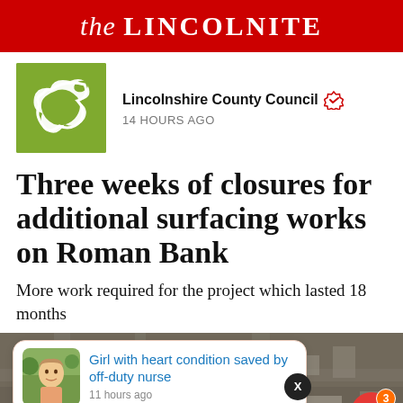the LINCOLNITE
[Figure (logo): Lincolnshire County Council green logo with white stylized bird/figure]
Lincolnshire County Council ✓ 14 HOURS AGO
Three weeks of closures for additional surfacing works on Roman Bank
More work required for the project which lasted 18 months
[Figure (screenshot): Notification card: Girl with heart condition saved by off-duty nurse — 11 hours ago, with aerial photo background of streets]
Girl with heart condition saved by off-duty nurse — 11 hours ago